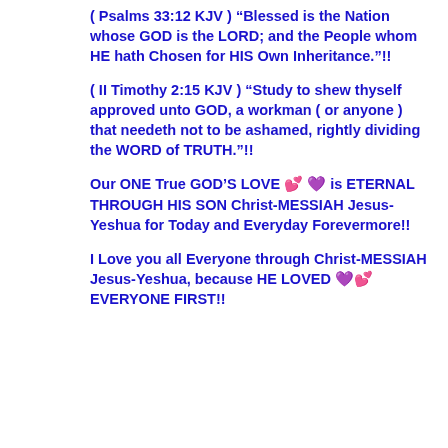( Psalms 33:12 KJV ) “Blessed is the Nation whose GOD is the LORD; and the People whom HE hath Chosen for HIS Own Inheritance.”!!
( II Timothy 2:15 KJV ) “Study to shew thyself approved unto GOD, a workman ( or anyone ) that needeth not to be ashamed, rightly dividing the WORD of TRUTH.”!!
Our ONE True GOD’S LOVE 💕 💜 is ETERNAL THROUGH HIS SON Christ-MESSIAH Jesus-Yeshua for Today and Everyday Forevermore!!
I Love you all Everyone through Christ-MESSIAH Jesus-Yeshua, because HE LOVED 💜 💕 EVERYONE FIRST!!